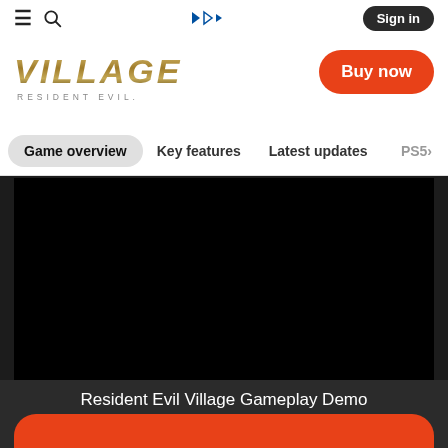≡ 🔍 [PlayStation Logo] Sign in
[Figure (logo): Resident Evil Village logo - stylized golden italic VILLAGE text with RESIDENT EVIL. subtitle]
Buy now
Game overview   Key features   Latest updates   PS5
[Figure (screenshot): Black video player area showing Resident Evil Village Gameplay Demo]
Resident Evil Village Gameplay Demo
PS5
Free
Demo